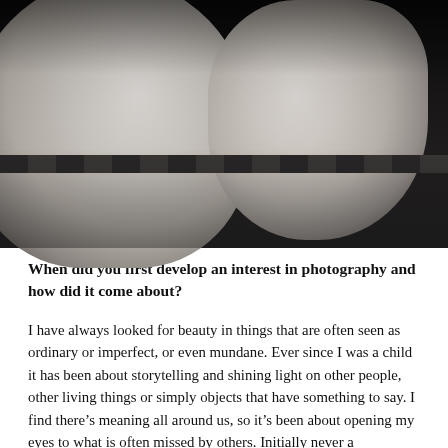[Figure (photo): Black and white photograph showing a pregnant belly on the left and a baby's back/torso on the right, appearing to be in a bath or similar setting with tiled background]
When did you first develop an interest in photography and how did it come about?
I have always looked for beauty in things that are often seen as ordinary or imperfect, or even mundane. Ever since I was a child it has been about storytelling and shining light on other people, other living things or simply objects that have something to say. I find there's meaning all around us, so it's been about opening my eyes to what is often missed by others. Initially never a